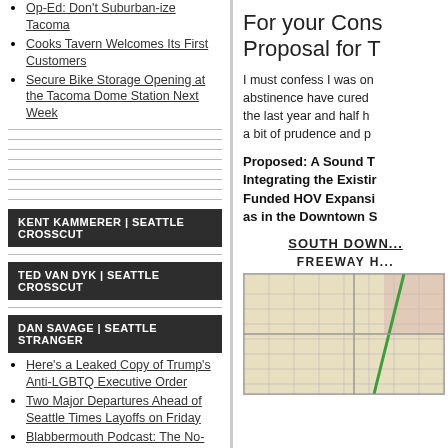Op-Ed: Don't Suburban-ize Tacoma
Cooks Tavern Welcomes Its First Customers
Secure Bike Storage Opening at the Tacoma Dome Station Next Week
(blank lines / dividers)
KENT KAMMERER | SEATTLE CROSSCUT
TED VAN DYK | SEATTLE CROSSCUT
DAN SAVAGE | SEATTLE STRANGER
Here's a Leaked Copy of Trump's Anti-LGBTQ Executive Order
Two Major Departures Ahead of Seattle Times Layoffs on Friday
Blabbermouth Podcast: The No-Holds-Barred Plan for Fighting Trump on His Supreme Court
For your Cons... Proposal for T...
I must confess I was on... abstinence have cured... the last year and half h... a bit of prudence and p...
Proposed: A Sound T... Integrating the Existin... Funded HOV Expansi... as in the Downtown S...
SOUTH DOWN...
FREEWAY H...
[Figure (map): A map showing road/freeway layout in the downtown Seattle/South Downtown area, with streets, a green diagonal line (transit/rail route), and surrounding neighborhood grid.]